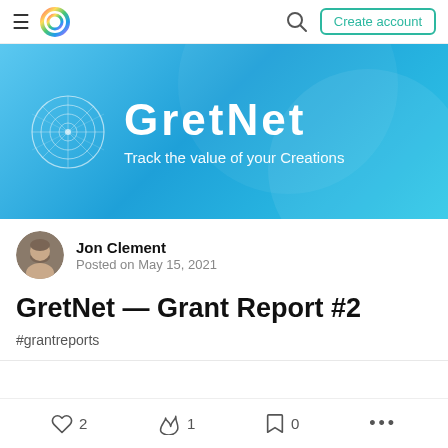GretNet — navigation bar with hamburger, logo, search, Create account
[Figure (illustration): GretNet banner with blue gradient background, circular web logo, title 'GretNet' and subtitle 'Track the value of your Creations']
Jon Clement
Posted on May 15, 2021
GretNet — Grant Report #2
#grantreports
2 likes · 1 boost · 0 bookmarks